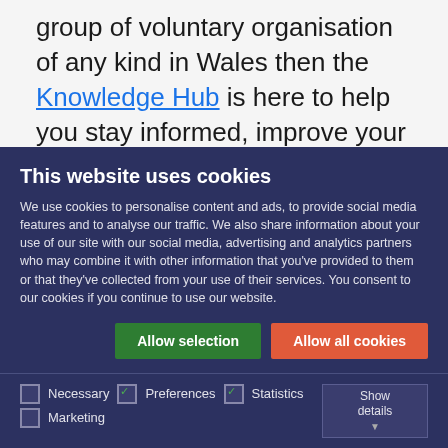group of voluntary organisation of any kind in Wales then the Knowledge Hub is here to help you stay informed, improve your knowledge and connect with others.
Registering for free on the Knowledge Hub gives you the opportunity to upskill yourself, learn and access high quality information on key areas such as runni...
This website uses cookies
We use cookies to personalise content and ads, to provide social media features and to analyse our traffic. We also share information about your use of our site with our social media, advertising and analytics partners who may combine it with other information that you've provided to them or that they've collected from your use of their services. You consent to our cookies if you continue to use our website.